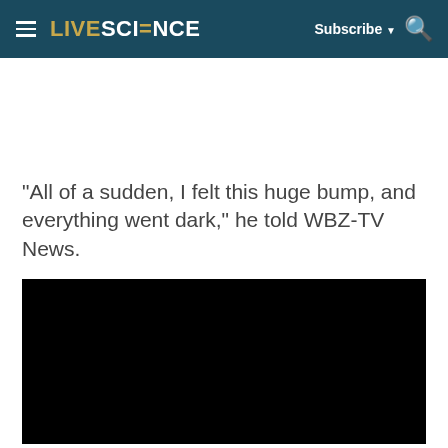LIVESCIENCE  Subscribe  🔍
"All of a sudden, I felt this huge bump, and everything went dark," he told WBZ-TV News.
[Figure (other): Black video player / media embed block]